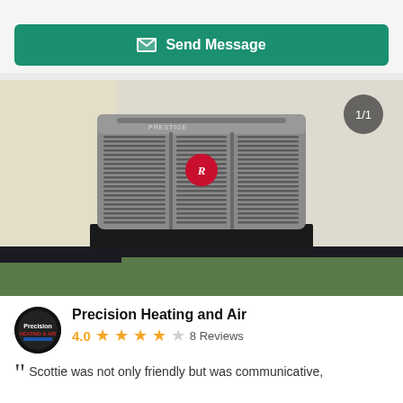...
Send Message
[Figure (photo): A Rheem Prestige Series air conditioning unit (outdoor condenser) photographed indoors against a beige wall, sitting on green turf-style carpet. The unit is gray with horizontal ventilation grilles and displays the Rheem diamond logo. An image counter badge shows 1/1 in the top right corner.]
Precision Heating and Air
4.0  ★★★★☆  8 Reviews
Scottie was not only friendly but was communicative,